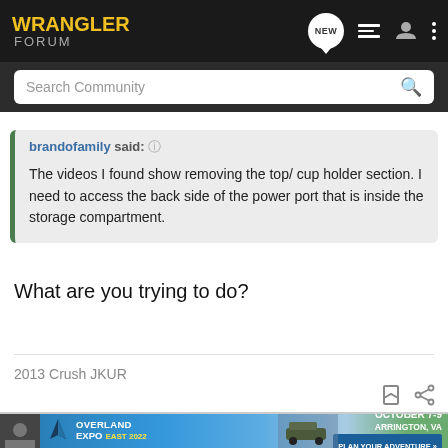WRANGLER FORUM
Search Community
brandofamily said. ↑
The videos I found show removing the top/ cup holder section. I need to access the back side of the power port that is inside the storage compartment.
What are you trying to do?
2013 Crush JKUR
[Figure (infographic): Overland Expo East 2022 advertisement banner - October 7-9, Arrington, VA, Plan Your Adventure button]